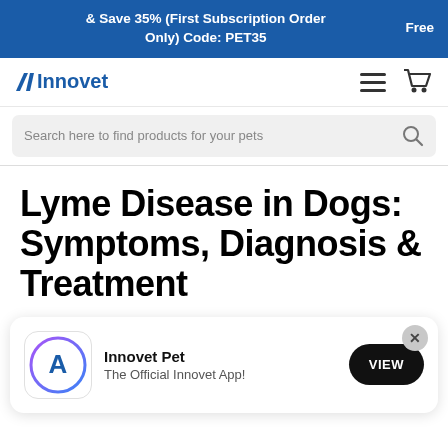& Save 35% (First Subscription Order Only) Code: PET35    Free
[Figure (logo): Innovet logo with navigation icons (hamburger menu and shopping cart)]
Search here to find products for your pets
Lyme Disease in Dogs: Symptoms, Diagnosis & Treatment
[Figure (infographic): App download card: Innovet Pet app icon (App Store style with 'A' symbol in gradient circle), text 'Innovet Pet / The Official Innovet App!', VIEW button, and X close button]